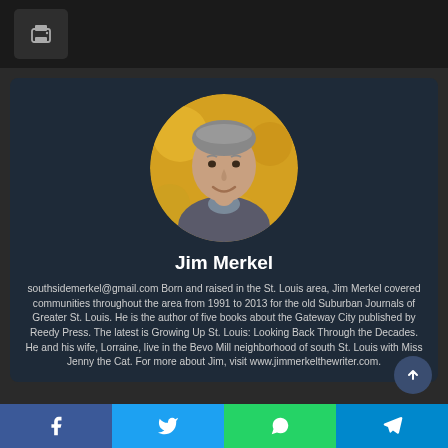[Figure (photo): Circular profile photo of Jim Merkel, a middle-aged man with gray hair, smiling, wearing a gray sweater, against a blurred yellow/orange bokeh background]
Jim Merkel
southsidemerkel@gmail.com Born and raised in the St. Louis area, Jim Merkel covered communities throughout the area from 1991 to 2013 for the old Suburban Journals of Greater St. Louis. He is the author of five books about the Gateway City published by Reedy Press. The latest is Growing Up St. Louis: Looking Back Through the Decades. He and his wife, Lorraine, live in the Bevo Mill neighborhood of south St. Louis with Miss Jenny the Cat. For more about Jim, visit www.jimmerkelthewriter.com.
[Figure (infographic): Social share bar with Facebook, Twitter, WhatsApp, and Telegram icons]